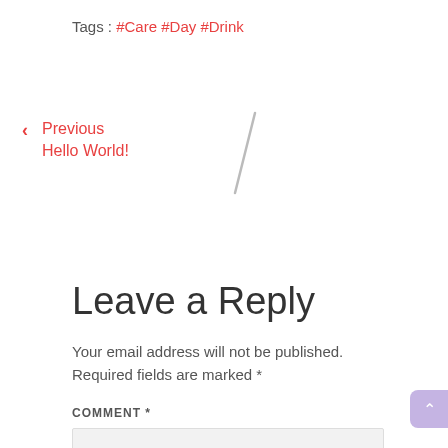Tags : #Care #Day #Drink
< Previous
Hello World!
Leave a Reply
Your email address will not be published. Required fields are marked *
COMMENT *